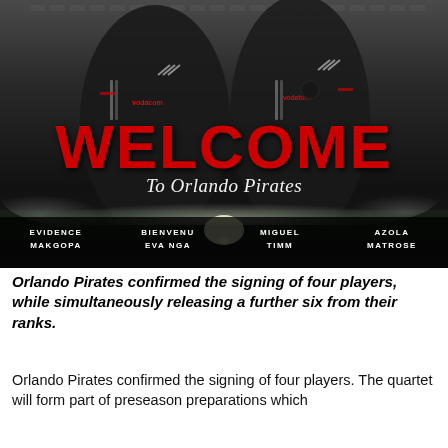[Figure (photo): Black and white promotional photo of Orlando Pirates FC new signings. Two players in black Vodacom Orlando Pirates jerseys running forward. Large red bold 'WELCOME' text overlaid, with cursive 'To Orlando Pirates' beneath it. Bottom of image shows names of four players: Evidence Makgopa, Bienvenu Eva Nga, Miguel Timm, Azola Matrose.]
Orlando Pirates confirmed the signing of four players, while simultaneously releasing a further six from their ranks.
Orlando Pirates confirmed the signing of four players. The quartet will form part of preseason preparations which